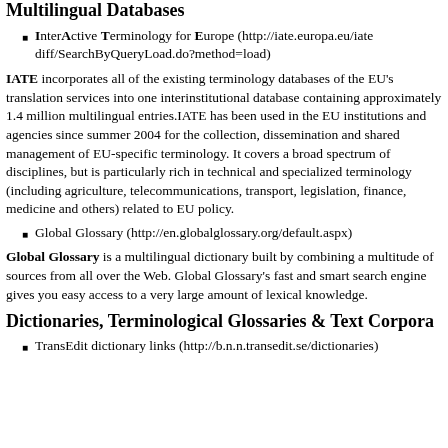Multilingual Databases
InterActive Terminology for Europe (http://iate.europa.eu/iatediff/SearchByQueryLoad.do?method=load)
IATE incorporates all of the existing terminology databases of the EU's translation services into one interinstitutional database containing approximately 1.4 million multilingual entries.IATE has been used in the EU institutions and agencies since summer 2004 for the collection, dissemination and shared management of EU-specific terminology. It covers a broad spectrum of disciplines, but is particularly rich in technical and specialized terminology (including agriculture, telecommunications, transport, legislation, finance, medicine and others) related to EU policy.
Global Glossary (http://en.globalglossary.org/default.aspx)
Global Glossary is a multilingual dictionary built by combining a multitude of sources from all over the Web. Global Glossary's fast and smart search engine gives you easy access to a very large amount of lexical knowledge.
Dictionaries, Terminological Glossaries & Text Corpora
TransEdit dictionary links (http://b.n.n.transedit.se/dictionaries)